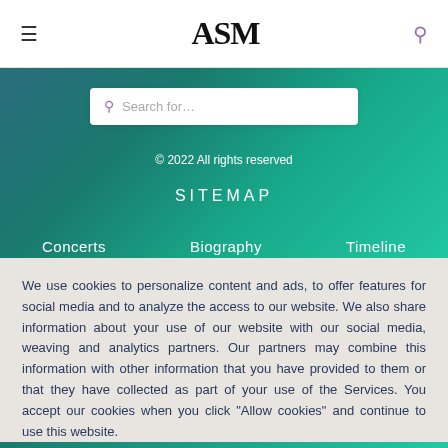≡   ASM   🔍
[Figure (screenshot): Website screenshot showing ASM logo header, teal/green gradient background with search box, copyright notice, SITEMAP heading, and navigation links (Concerts, Biography, Timeline)]
Search for…
© 2022 All rights reserved
SITEMAP
Concerts   Biography   Timeline
We use cookies to personalize content and ads, to offer features for social media and to analyze the access to our website. We also share information about your use of our website with our social media, weaving and analytics partners. Our partners may combine this information with other information that you have provided to them or that they have collected as part of your use of the Services. You accept our cookies when you click "Allow cookies" and continue to use this website.
ALLOW COOKIES
PRIVACY POLICY